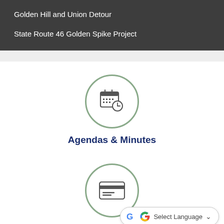Golden Hill and Union Detour
State Route 46 Golden Spike Project
[Figure (illustration): Circle icon with a calendar and clock symbol, sage green border, representing Agendas & Minutes section]
Agendas & Minutes
[Figure (illustration): Circle icon with a credit card / payment symbol, sage green border, representing Online Payments section]
Select Language
Online Payments